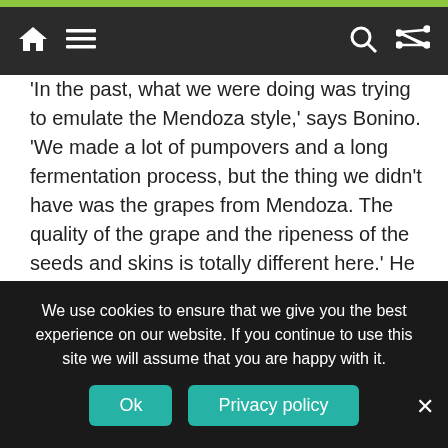Navigation bar with home, menu, search, and shuffle icons
'In the past, what we were doing was trying to emulate the Mendoza style,' says Bonino. 'We made a lot of pumpovers and a long fermentation process, but the thing we didn't have was the grapes from Mendoza. The quality of the grape and the ripeness of the seeds and skins is totally different here.' He says that as soon as they began to respect their terroir in Uruguay, and stopped emulating other styles, then they began to understand how to work with Tannat. 'In the past, to drink a Tannat, you'd need a big piece of
We use cookies to ensure that we give you the best experience on our website. If you continue to use this site we will assume that you are happy with it.